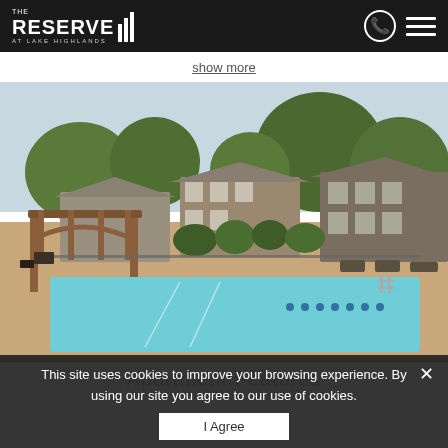THE RESERVE AT LAKE HIGHLANDS
show more
[Figure (photo): Outdoor swimming pool at The Reserve at Lake Highlands apartment complex, with pergola structure on left, lounge chairs around pool, landscaped bushes, and multi-story apartment buildings in background under a hazy sky.]
Apartment Features
This site uses cookies to improve your browsing experience. By using our site you agree to our use of cookies.
I Agree